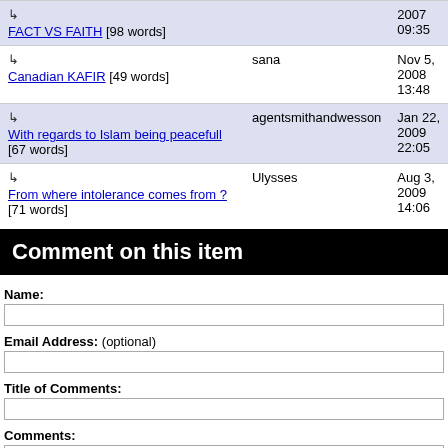| Thread | Author | Date |
| --- | --- | --- |
| ↳ FACT VS FAITH [98 words] |  | 2007 09:35 |
| ↳ Canadian KAFIR [49 words] | sana | Nov 5, 2008 13:48 |
| ↳ With regards to Islam being peacefull [67 words] | agentsmithandwesson | Jan 22, 2009 22:05 |
| ↳ From where intolerance comes from ? [71 words] | Ulysses | Aug 3, 2009 14:06 |
Comment on this item
Name:
Email Address: (optional)
Title of Comments:
Comments: